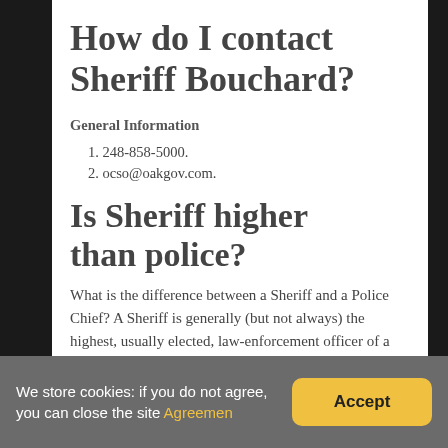How do I contact Sheriff Bouchard?
General Information
1. 248-858-5000.
2. ocso@oakgov.com.
Is Sheriff higher than police?
What is the difference between a Sheriff and a Police Chief? A Sheriff is generally (but not always) the highest, usually elected, law-enforcement officer of a county. Chiefs of Police
We store cookies: if you do not agree, you can close the site Agreemen